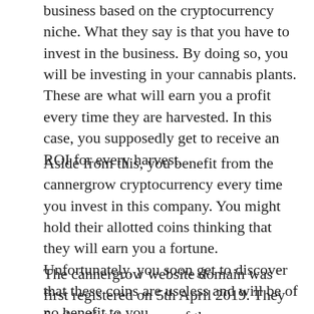business based on the cryptocurrency niche. What they say is that you have to invest in the business. By doing so, you will be investing in your cannabis plants. These are what will earn you a profit every time they are harvested. In this case, you supposedly get to receive an ROI for every harvest.
Aside from this, you benefit from the cannergrow cryptocurrency every time you invest in this company. You might hold their allotted coins thinking that they will earn you a fortune. Unfortunately, you soon get to discover that these coins are useless and will be of no benefit to you.
The cannergrow website domain was first registered on 5th April 2019. They further list the owner of the company as Sasha waeschler alongside an address